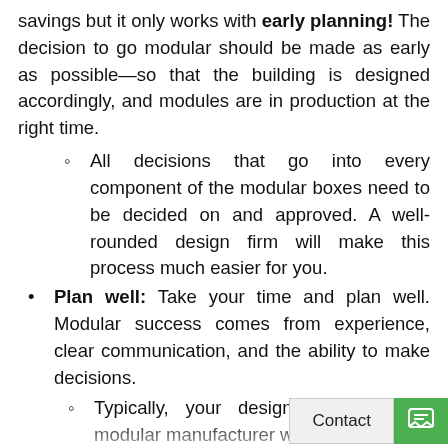savings but it only works with early planning! The decision to go modular should be made as early as possible—so that the building is designed accordingly, and modules are in production at the right time.
All decisions that go into every component of the modular boxes need to be decided on and approved. A well-rounded design firm will make this process much easier for you.
Plan well: Take your time and plan well. Modular success comes from experience, clear communication, and the ability to make decisions.
Typically, your design firm and the modular manufacturer will take care of